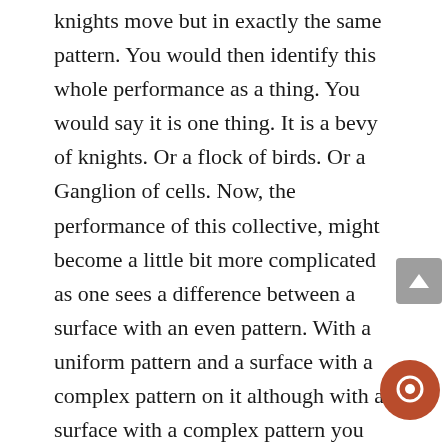knights move but in exactly the same pattern. You would then identify this whole performance as a thing. You would say it is one thing. It is a bevy of knights. Or a flock of birds. Or a Ganglion of cells. Now, the performance of this collective, might become a little bit more complicated as one sees a difference between a surface with an even pattern. With a uniform pattern and a surface with a complex pattern on it although with a surface with a complex pattern you might call a picture and a picture is a thing. So let us suppose that on our vast chess board, the Knights still kept the essential pattern of the knights move but certain groups of them did it towards the Far Side of the board, and other that it was the near side some did it toward the left and some did it towards the right then